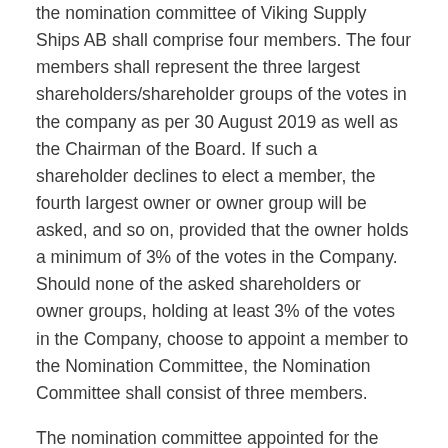the nomination committee of Viking Supply Ships AB shall comprise four members. The four members shall represent the three largest shareholders/shareholder groups of the votes in the company as per 30 August 2019 as well as the Chairman of the Board. If such a shareholder declines to elect a member, the fourth largest owner or owner group will be asked, and so on, provided that the owner holds a minimum of 3% of the votes in the Company. Should none of the asked shareholders or owner groups, holding at least 3% of the votes in the Company, choose to appoint a member to the Nomination Committee, the Nomination Committee shall consist of three members.
The nomination committee appointed for the annual general meeting 2020 comprise: Bengt A. Rem in his position as Chairman of the Board (also represents Kistefos AS/Viking Invest AS), Lena Patriksson Keller representing Enneff Rederi AB/Enneff Fastigheter AB/Enneff Intressenter AB, Lars Petter